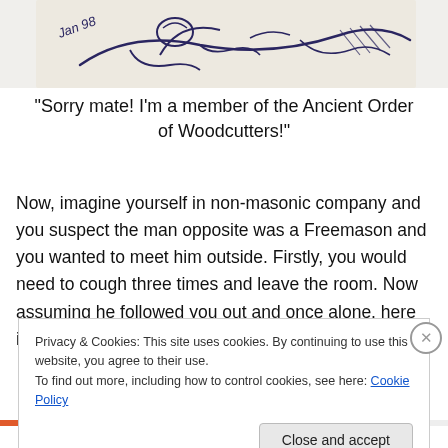[Figure (illustration): Black and white sketch/illustration of a person lying down, with 'Jan 98' written in the corner. Ink drawing style.]
“Sorry mate! I’m a member of the Ancient Order of Woodcutters!”
Now, imagine yourself in non-masonic company and you suspect the man opposite was a Freemason and you wanted to meet him outside. Firstly, you would need to cough three times and leave the room. Now assuming he followed you out and once alone, here is the procedure to follow:
Privacy & Cookies: This site uses cookies. By continuing to use this website, you agree to their use.
To find out more, including how to control cookies, see here: Cookie Policy